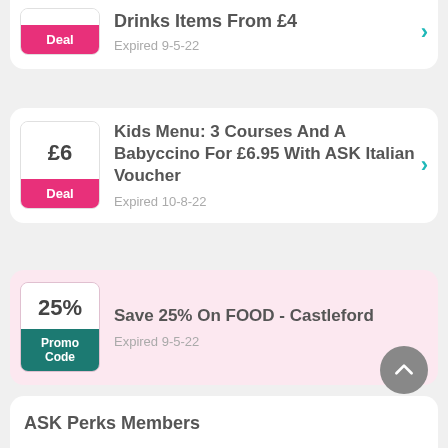[Figure (other): Deal card: Drinks Items From £4, Expired 9-5-22, with pink Deal badge]
[Figure (other): Deal card: Kids Menu: 3 Courses And A Babyccino For £6.95 With ASK Italian Voucher, Expired 10-8-22, with pink Deal badge and £6 value]
[Figure (other): Promo Code card: Save 25% On FOOD - Castleford, Expired 9-5-22, with teal Promo Code badge and 25% value]
[Figure (other): Card beginning: ASK Perks Members (partially visible)]